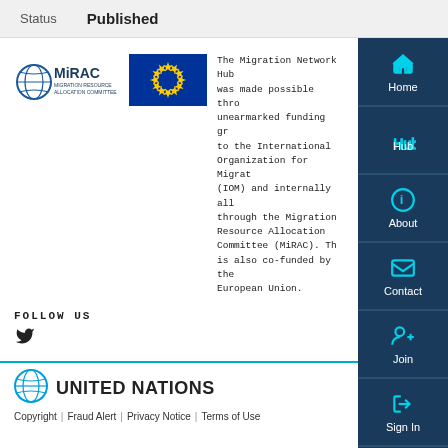Status   Published
[Figure (logo): MiRAC (Migration Resource Allocation Committee) logo with globe icon]
[Figure (illustration): European Union flag — blue background with circle of yellow stars]
The Migration Network Hub was made possible through unearmarked funding granted to the International Organization for Migration (IOM) and internally allocated through the Migration Resource Allocation Committee (MiRAC). This is also co-funded by the European Union.
FOLLOW US
[Figure (logo): Twitter bird icon]
[Figure (logo): United Nations globe logo]
UNITED NATIONS
Copyright | Fraud Alert | Privacy Notice | Terms of Use
Home
Hub
About
Contact
Join
Sign In
Help